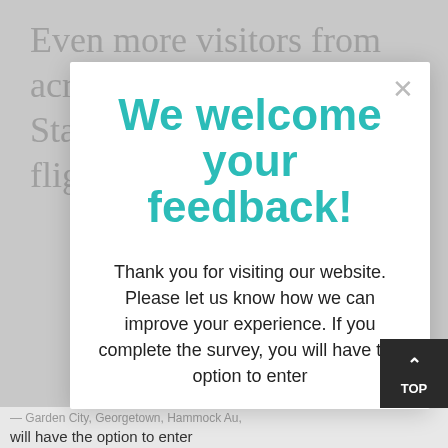Even more visitors from across the Eastern United States are now only one flight away from
We welcome your feedback!
Thank you for visiting our website. Please let us know how we can improve your experience. If you complete the survey, you will have the option to enter
Garden City, Georgetown, Hammock Au,